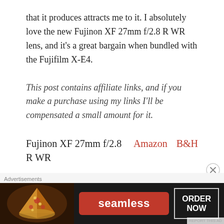that it produces attracts me to it. I absolutely love the new Fujinon XF 27mm f/2.8 R WR lens, and it's a great bargain when bundled with the Fujifilm X-E4.
This post contains affiliate links, and if you make a purchase using my links I'll be compensated a small amount for it.
Fujinon XF 27mm f/2.8 R WR   Amazon   B&H
Example photographs captured with the Fujinon XF 27mm f/2.8 R WR lens on a Fujifilm
[Figure (other): Advertisement banner for Seamless food delivery service showing pizza image on left, red Seamless logo button in center, and ORDER NOW button on right with dark background. Above the banner is an 'Advertisements' label and a close button.]